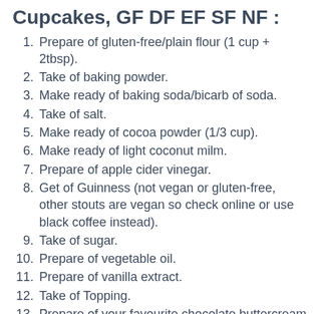Cupcakes, GF DF EF SF NF :.
Prepare of gluten-free/plain flour (1 cup + 2tbsp).
Take of baking powder.
Make ready of baking soda/bicarb of soda.
Take of salt.
Make ready of cocoa powder (1/3 cup).
Make ready of light coconut milm.
Prepare of apple cider vinegar.
Get of Guinness (not vegan or gluten-free, other stouts are vegan so check online or use black coffee instead).
Take of sugar.
Prepare of vegetable oil.
Prepare of vanilla extract.
Take of Topping.
Prepare of your favourite chocolate buttercream icing, enough for 12 cupcakes.
Take of white fondant icing.